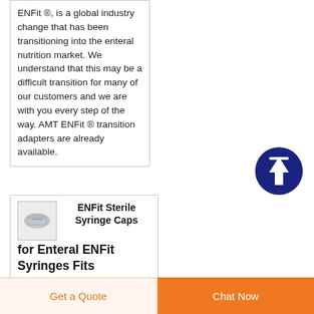ENFit ®, is a global industry change that has been transitioning into the enteral nutrition market. We understand that this may be a difficult transition for many of our customers and we are with you every step of the way. AMT ENFit ® transition adapters are already available.
[Figure (other): Dark blue circular scroll-to-top button with upward arrow icon]
[Figure (photo): Small product image of ENFit sterile syringe cap]
ENFit Sterile Syringe Caps for Enteral ENFit Syringes Fits
Get a Quote
Chat Now